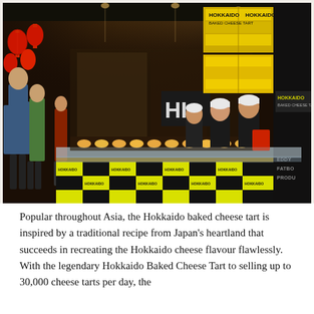[Figure (photo): Interior of a shopping mall food stall for Hokkaido Baked Cheese Tart. The counter has a black and yellow checkerboard pattern with the Hokkaido brand name. Workers in black uniforms and white caps stand behind the display counter. The background shows stacked yellow Hokkaido brand boxes. Red lanterns are visible on the far left. Other shoppers browse in the background.]
Popular throughout Asia, the Hokkaido baked cheese tart is inspired by a traditional recipe from Japan's heartland that succeeds in recreating the Hokkaido cheese flavour flawlessly. With the legendary Hokkaido Baked Cheese Tart to selling up to 30,000 cheese tarts per day, the...